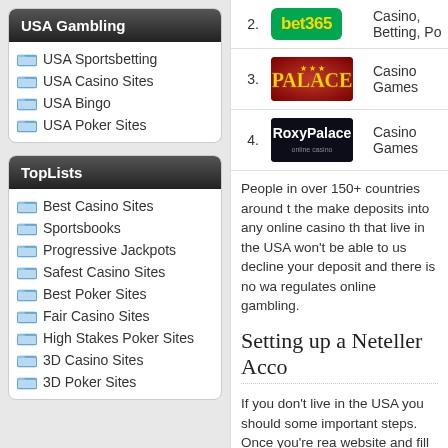USA Gambling
USA Sportsbetting
USA Casino Sites
USA Bingo
USA Poker Sites
TopLists
Best Casino Sites
Sportsbooks
Progressive Jackpots
Safest Casino Sites
Best Poker Sites
Fair Casino Sites
High Stakes Poker Sites
3D Casino Sites
3D Poker Sites
| # | Logo | Description |
| --- | --- | --- |
| 2. | bet365 | Casino, Betting, Po... |
| 3. | PALACE | Casino Games |
| 4. | RoxyPalace | Casino Games |
People in over 150+ countries around t... make deposits into any online casino th... that live in the USA won't be able to us... decline your deposit and there is no wa... regulates online gambling.
Setting up a Neteller Acco...
If you don't live in the USA you should ... some important steps. Once you're rea... website and fill in the registration form. ... account using one of the deposit metho... accounts and several other payment se...